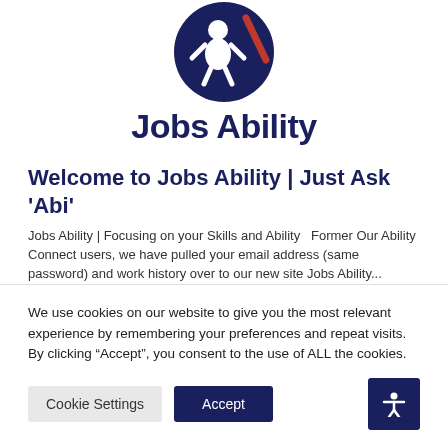[Figure (logo): Jobs Ability logo: circular dark navy icon with stylized figure and red element, with 'Jobs Ability' text in bold dark navy below]
Welcome to Jobs Ability | Just Ask 'Abi'
Jobs Ability | Focusing on your Skills and Ability    Former Our Ability Connect users, we have pulled your email address (same password) and work history over to our new site Jobs Ability...
We use cookies on our website to give you the most relevant experience by remembering your preferences and repeat visits. By clicking “Accept”, you consent to the use of ALL the cookies.